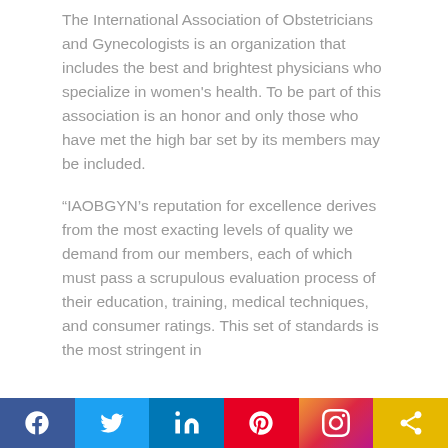The International Association of Obstetricians and Gynecologists is an organization that includes the best and brightest physicians who specialize in women's health. To be part of this association is an honor and only those who have met the high bar set by its members may be included.
“IAOBGYN’s reputation for excellence derives from the most exacting levels of quality we demand from our members, each of which must pass a scrupulous evaluation process of their education, training, medical techniques, and consumer ratings. This set of standards is the most stringent in
[Figure (infographic): Social media sharing bar with icons for Facebook, Twitter, LinkedIn, Pinterest, Instagram, and a share/link icon on colored backgrounds]